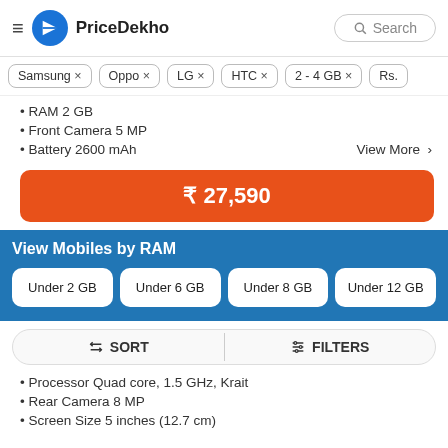PriceDekho
Samsung × Oppo × LG × HTC × 2 - 4 GB × Rs.
RAM 2 GB
Front Camera 5 MP
Battery 2600 mAh
View More >
₹ 27,590
View Mobiles by RAM
Under 2 GB
Under 6 GB
Under 8 GB
Under 12 GB
SORT   FILTERS
Processor Quad core, 1.5 GHz, Krait
Rear Camera 8 MP
Screen Size 5 inches (12.7 cm)